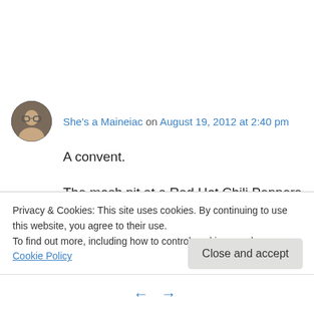She's a Maineiac on August 19, 2012 at 2:40 pm
A convent.
The mosh pit at a Red Hot Chili Peppers concert.
A haunted house.
Lunch ladies working at a junior high cafeteria.
Privacy & Cookies: This site uses cookies. By continuing to use this website, you agree to their use.
To find out more, including how to control cookies, see here: Cookie Policy
Close and accept